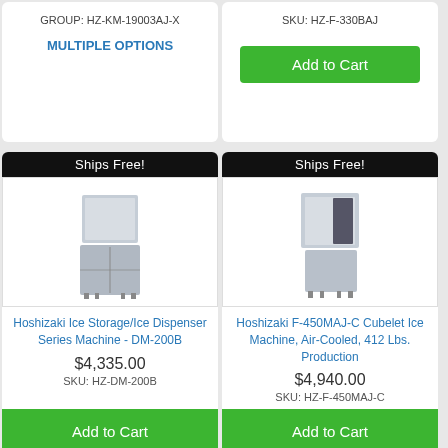GROUP: HZ-KM-19003AJ-X
SKU: HZ-F-330BAJ
MULTIPLE OPTIONS
Add to Cart
[Figure (photo): Hoshizaki ice storage/dispenser machine product photo]
Ships Free!
Hoshizaki Ice Storage/Ice Dispenser Series Machine - DM-200B
$4,335.00
SKU: HZ-DM-200B
Add to Cart
[Figure (photo): Hoshizaki F-450MAJ-C cubelet ice machine product photo]
Ships Free!
Hoshizaki F-450MAJ-C Cubelet Ice Machine, Air-Cooled, 412 Lbs. Production
$4,940.00
SKU: HZ-F-450MAJ-C
Add to Cart
Ships Free!
[Figure (logo): Trust Guard Security Scanned logo]
Ships Free!